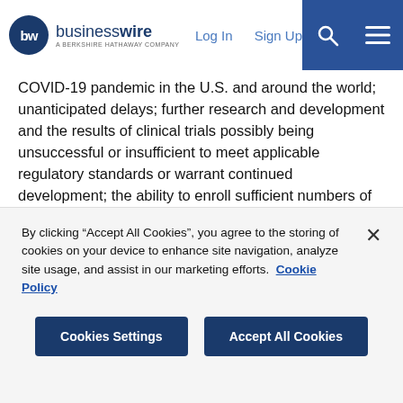businesswire — A Berkshire Hathaway Company | Log In | Sign Up
COVID-19 pandemic in the U.S. and around the world; unanticipated delays; further research and development and the results of clinical trials possibly being unsuccessful or insufficient to meet applicable regulatory standards or warrant continued development; the ability to enroll sufficient numbers of subjects in clinical trials; determinations made by the FDA or other regulators; the Company's dependence on its relationships with its collaboration partners; the efficacy or safety of the Company's products and the products of the Company's collaboration partners; the acceptance of the Company's products and the products of the Company's collaboration partners in the marketplace; market
By clicking “Accept All Cookies”, you agree to the storing of cookies on your device to enhance site navigation, analyze site usage, and assist in our marketing efforts. Cookie Policy
Cookies Settings | Accept All Cookies